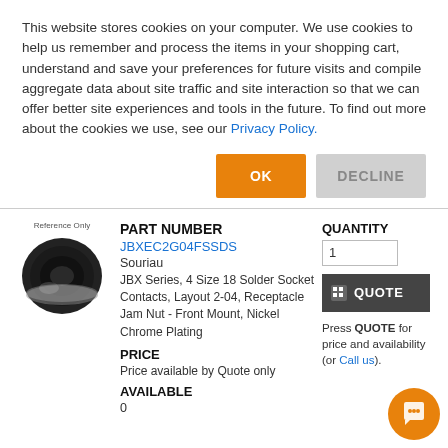This website stores cookies on your computer. We use cookies to help us remember and process the items in your shopping cart, understand and save your preferences for future visits and compile aggregate data about site traffic and site interaction so that we can offer better site experiences and tools in the future. To find out more about the cookies we use, see our Privacy Policy.
OK
DECLINE
PART NUMBER
JBXEC2G04FSSDS
Souriau
JBX Series, 4 Size 18 Solder Socket Contacts, Layout 2-04, Receptacle Jam Nut - Front Mount, Nickel Chrome Plating
PRICE
Price available by Quote only
AVAILABLE
0
QUANTITY
1
QUOTE
Press QUOTE for price and availability (or Call us).